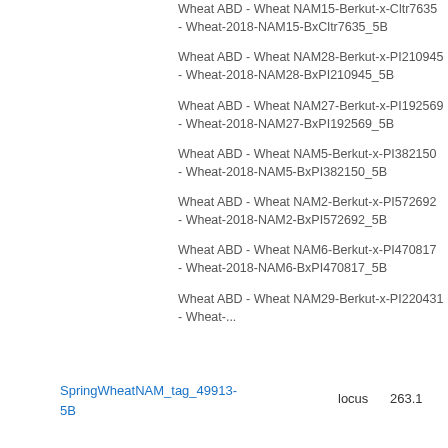Wheat ABD - Wheat NAM15-Berkut-x-Cltr7635 - Wheat-2018-NAM15-BxCltr7635_5B
Wheat ABD - Wheat NAM28-Berkut-x-PI210945 - Wheat-2018-NAM28-BxPI210945_5B
Wheat ABD - Wheat NAM27-Berkut-x-PI192569 - Wheat-2018-NAM27-BxPI192569_5B
Wheat ABD - Wheat NAM5-Berkut-x-PI382150 - Wheat-2018-NAM5-BxPI382150_5B
Wheat ABD - Wheat NAM2-Berkut-x-PI572692 - Wheat-2018-NAM2-BxPI572692_5B
Wheat ABD - Wheat NAM6-Berkut-x-PI470817 - Wheat-2018-NAM6-BxPI470817_5B
SpringWheatNAM_tag_49913-5B	locus	263.1
Wheat ABD - Wheat NAM29-Berkut-x-PI220431 - Wheat-...